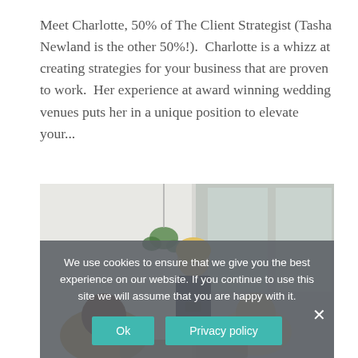Meet Charlotte, 50% of The Client Strategist (Tasha Newland is the other 50%!). Charlotte is a whizz at creating strategies for your business that are proven to work. Her experience at award winning wedding venues puts her in a unique position to elevate your...
[Figure (photo): A blonde woman standing and smiling in a bright office/meeting room setting, holding a phone, with other people seated around a table in the foreground.]
We use cookies to ensure that we give you the best experience on our website. If you continue to use this site we will assume that you are happy with it.